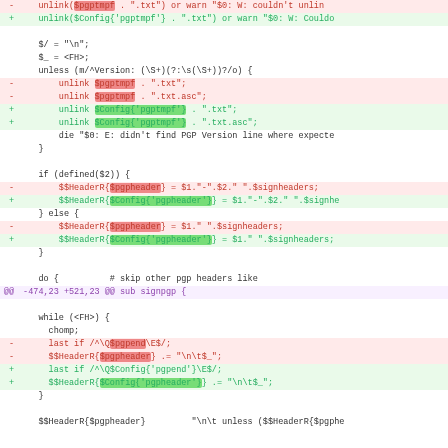[Figure (screenshot): Code diff showing Perl script changes replacing direct variable references like $pgptmpf, $pgpheader, $pgpend with hash-based config references like $Config{'pgptmpf'}, $Config{'pgpheader'}, $Config{'pgpend'}]